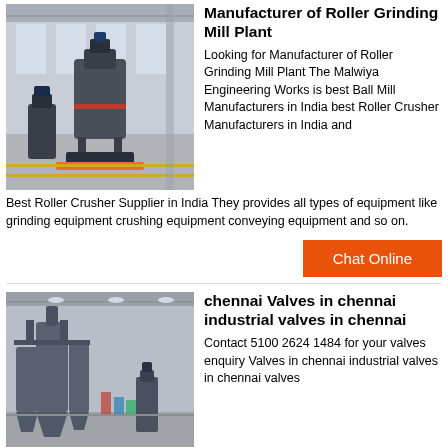[Figure (photo): Industrial roller grinding mill plant machines in a warehouse/factory setting]
Manufacturer of Roller Grinding Mill Plant
Looking for Manufacturer of Roller Grinding Mill Plant The Malwiya Engineering Works is best Ball Mill Manufacturers in India best Roller Crusher Manufacturers in India and Best Roller Crusher Supplier in India They provides all types of equipment like grinding equipment crushing equipment conveying equipment and so on.
[Figure (illustration): Chat Online orange button]
[Figure (photo): Industrial valve equipment machinery in a factory, tall cylindrical units with pipes]
chennai Valves in chennai industrial valves in chennai
Contact 5100 2624 1484 for your valves enquiry Valves in chennai industrial valves in chennai valves